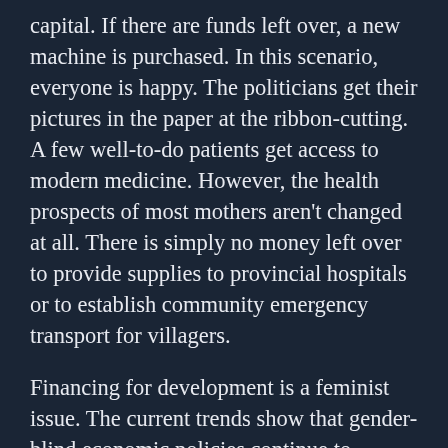capital. If there are funds left over, a new machine is purchased. In this scenario, everyone is happy. The politicians get their pictures in the paper at the ribbon-cutting. A few well-to-do patients get access to modern medicine. However, the health prospects of most mothers aren't changed at all. There is simply no money left over to provide supplies to provincial hospitals or to establish community emergency transport for villagers.
Financing for development is a feminist issue. The current trends show that gender-blind economic policies continue to undervalue women's unpaid work. One solution would be to demand that governments make their accounts public for all to scrutinize. If we are